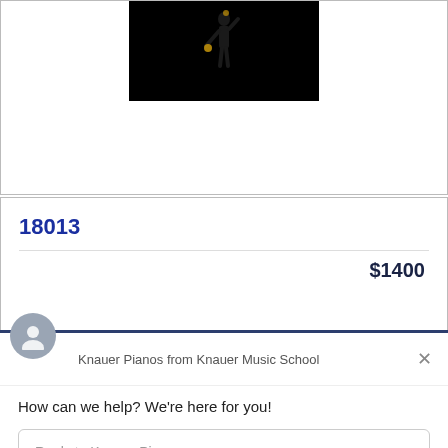[Figure (photo): Dark/black background with a partial silhouette figure, appears to be a person performing or posing, with golden/amber colored accents visible]
18013
$1400
Knauer Pianos from Knauer Music School
How can we help? We're here for you!
Reply to Knauer Pianos
Chat ⚡ by Drift